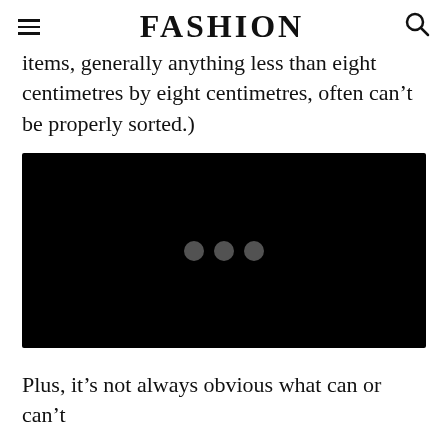FASHION
items, generally anything less than eight centimetres by eight centimetres, often can't be properly sorted.)
[Figure (screenshot): Black video player placeholder with three grey loading dots in the center]
Plus, it’s not always obvious what can or can’t